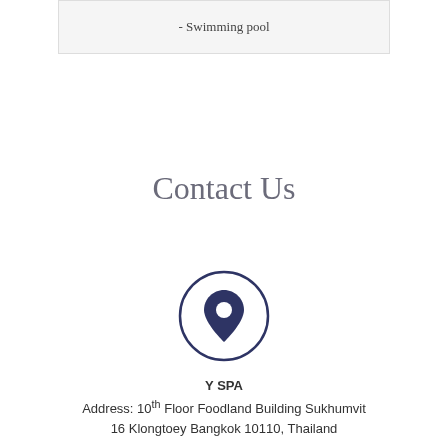- Swimming pool
Contact Us
[Figure (illustration): Map pin / location icon inside a circle, dark navy blue color]
Y SPA
Address: 10th Floor Foodland Building Sukhumvit 16 Klongtoey Bangkok 10110, Thailand